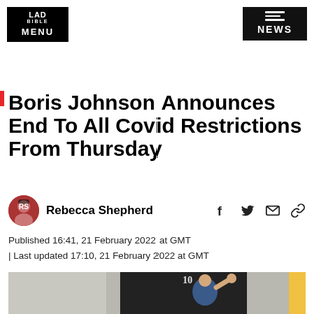LAD BIBLE MENU | NEWS
Boris Johnson Announces End To All Covid Restrictions From Thursday
Rebecca Shepherd
Published 16:41, 21 February 2022 at GMT
| Last updated 17:10, 21 February 2022 at GMT
[Figure (photo): Boris Johnson waving outside 10 Downing Street]